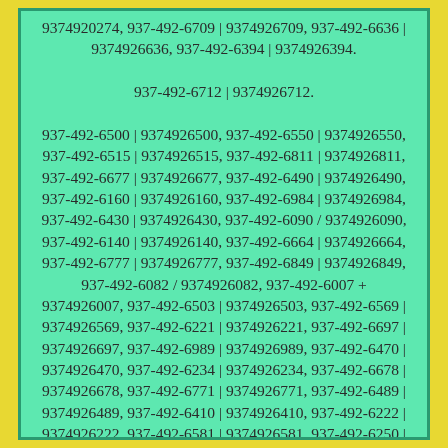9374920274, 937-492-6709 | 9374926709, 937-492-6636 | 9374926636, 937-492-6394 | 9374926394. 937-492-6712 | 9374926712. 937-492-6500 | 9374926500, 937-492-6550 | 9374926550, 937-492-6515 | 9374926515, 937-492-6811 | 9374926811, 937-492-6677 | 9374926677, 937-492-6490 | 9374926490, 937-492-6160 | 9374926160, 937-492-6984 | 9374926984, 937-492-6430 | 9374926430, 937-492-6090 / 9374926090, 937-492-6140 | 9374926140, 937-492-6664 | 9374926664, 937-492-6777 | 9374926777, 937-492-6849 | 9374926849, 937-492-6082 / 9374926082, 937-492-6007 + 9374926007, 937-492-6503 | 9374926503, 937-492-6569 | 9374926569, 937-492-6221 | 9374926221, 937-492-6697 | 9374926697, 937-492-6989 | 9374926989, 937-492-6470 | 9374926470, 937-492-6234 | 9374926234, 937-492-6678 | 9374926678, 937-492-6771 | 9374926771, 937-492-6489 | 9374926489, 937-492-6410 | 9374926410, 937-492-6222 | 9374926222, 937-492-6581 | 9374926581, 937-492-6250 | 9374926250, 937-